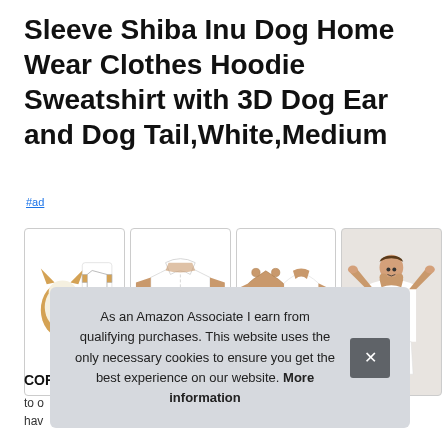Sleeve Shiba Inu Dog Home Wear Clothes Hoodie Sweatshirt with 3D Dog Ear and Dog Tail,White,Medium
#ad
[Figure (photo): Four product images of a Shiba Inu hoodie sweatshirt: cartoon illustration with real product, full front view of white hoodie with tan sleeves, front and back tan/white version, and model wearing the white hoodie with arms raised]
COR
to o
hav
As an Amazon Associate I earn from qualifying purchases. This website uses the only necessary cookies to ensure you get the best experience on our website. More information